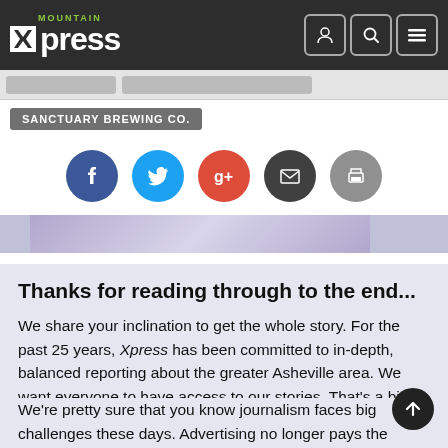Mountain Xpress
SANCTUARY BREWING CO.
[Figure (infographic): Social sharing icons: Facebook, Twitter, Google+, Email, Print]
Thanks for reading through to the end...
We share your inclination to get the whole story. For the past 25 years, Xpress has been committed to in-depth, balanced reporting about the greater Asheville area. We want everyone to have access to our stories. That's a big part of why we've never charged for the paper or put up a paywall.
We're pretty sure that you know journalism faces big challenges these days. Advertising no longer pays the whole cost. Media outlets around the country are asking their readers to chip in. Xpress needs help, too. We hope you'll